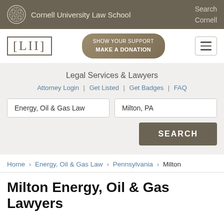Cornell University Law School | Search Cornell
[Figure (logo): LII (Legal Information Institute) logo with [LII] bracket text and 'SHOW YOUR SUPPORT MAKE A DONATION' button]
Legal Services & Lawyers
Attorney Login | Get Listed | Get Badges | FAQ
Energy, Oil & Gas Law | Milton, PA [search fields]
SEARCH
Home › Energy, Oil & Gas Law › Pennsylvania › Milton
Milton Energy, Oil & Gas Lawyers